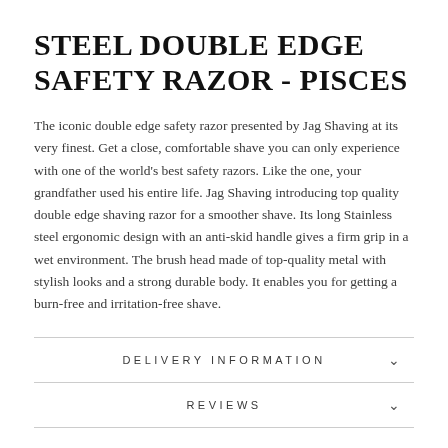STEEL DOUBLE EDGE SAFETY RAZOR - PISCES
The iconic double edge safety razor presented by Jag Shaving at its very finest. Get a close, comfortable shave you can only experience with one of the world's best safety razors. Like the one, your grandfather used his entire life. Jag Shaving introducing top quality double edge shaving razor for a smoother shave. Its long Stainless steel ergonomic design with an anti-skid handle gives a firm grip in a wet environment. The brush head made of top-quality metal with stylish looks and a strong durable body. It enables you for getting a burn-free and irritation-free shave.
DELIVERY INFORMATION
REVIEWS